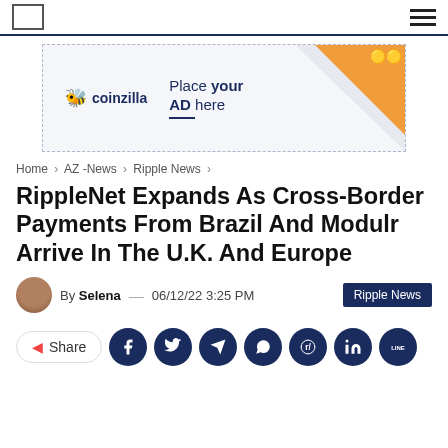Navigation bar with logo box and hamburger menu
[Figure (other): Coinzilla advertisement banner: Place your AD here]
Home > AZ-News > Ripple News >
RippleNet Expands As Cross-Border Payments From Brazil And Modulr Arrive In The U.K. And Europe
By Selena — 06/12/22 3:25 PM  Ripple News
Share (social icons: Facebook, Twitter, Telegram, WhatsApp, Reddit, LinkedIn, LINE)